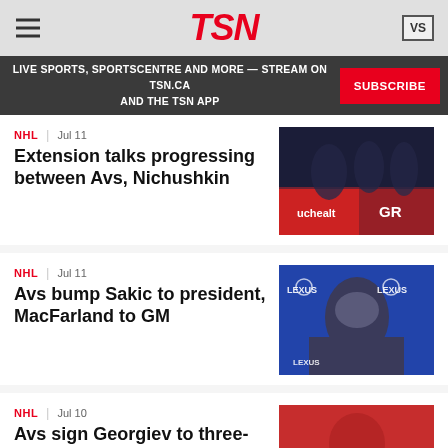TSN
LIVE SPORTS, SPORTSCENTRE AND MORE — STREAM ON TSN.CA AND THE TSN APP | SUBSCRIBE
NHL | Jul 11
Extension talks progressing between Avs, Nichushkin
[Figure (photo): Colorado Avalanche hockey players at the bench]
NHL | Jul 11
Avs bump Sakic to president, MacFarland to GM
[Figure (photo): Man in suit speaking at press conference with Avalanche and Lexus logos behind him]
NHL | Jul 10
Avs sign Georgiev to three-